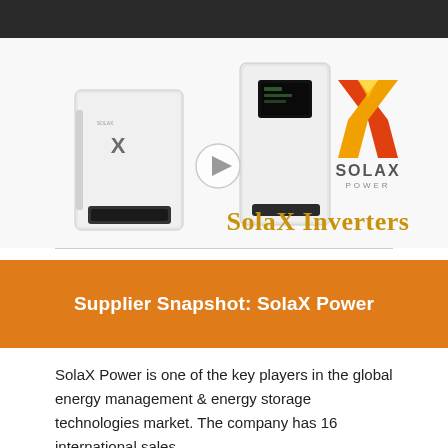[Figure (photo): SolaX Power inverter products (two white inverter units) with SolaX Power logo (orange/yellow X shape with SOLAX POWER text) and golden text 'SolaX Inverters'. A play button circle overlay is visible. Dark header bar at top.]
Supplier Snapshot: SolaX Power
SolaX Power is one of the key players in the global energy management & energy storage technologies market. The company has 16 international sales